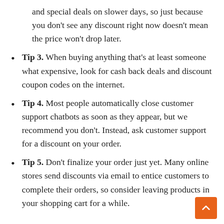and special deals on slower days, so just because you don't see any discount right now doesn't mean the price won't drop later.
Tip 3. When buying anything that's at least someone what expensive, look for cash back deals and discount coupon codes on the internet.
Tip 4. Most people automatically close customer support chatbots as soon as they appear, but we recommend you don't. Instead, ask customer support for a discount on your order.
Tip 5. Don't finalize your order just yet. Many online stores send discounts via email to entice customers to complete their orders, so consider leaving products in your shopping cart for a while.